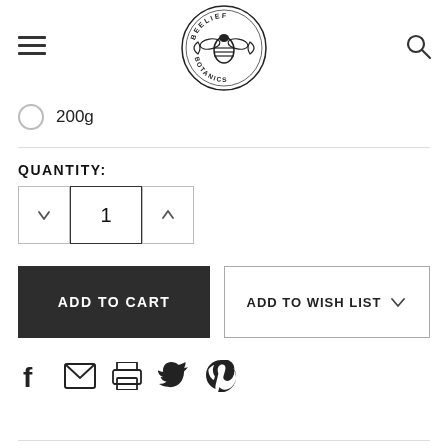[Figure (logo): Beelief Botanics circular logo with bee and leaves illustration]
200g
QUANTITY:
1
ADD TO CART
ADD TO WISH LIST
[Figure (infographic): Social share icons: Facebook, Email, Print, Twitter, Pinterest]